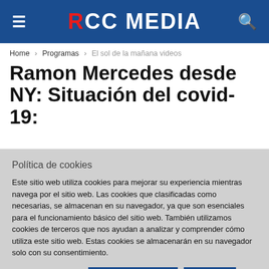RCC MEDIA
Home > Programas > El sol de la mañana videos
Ramon Mercedes desde NY: Situación del covid-19:
Política de cookies
Este sitio web utiliza cookies para mejorar su experiencia mientras navega por el sitio web. Las cookies que clasificadas como necesarias, se almacenan en su navegador, ya que son esenciales para el funcionamiento básico del sitio web. También utilizamos cookies de terceros que nos ayudan a analizar y comprender cómo utiliza este sitio web. Estas cookies se almacenarán en su navegador solo con su consentimiento.
Ajustes de Cookies | MÁS INFROMACIÓN | ACEPTAR